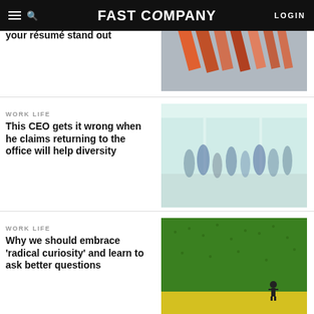FAST COMPANY — LOGIN
WORK LIFE
The simple reframe to help your résumé stand out
[Figure (photo): Aerial view of people on a colorful surface with orange and pink shadows]
WORK LIFE
This CEO gets it wrong when he claims returning to the office will help diversity
[Figure (photo): Blurred people walking in a bright indoor corridor]
WORK LIFE
Why we should embrace 'radical curiosity' and learn to ask better questions
[Figure (photo): Person standing next to a large green textured wall or hill]